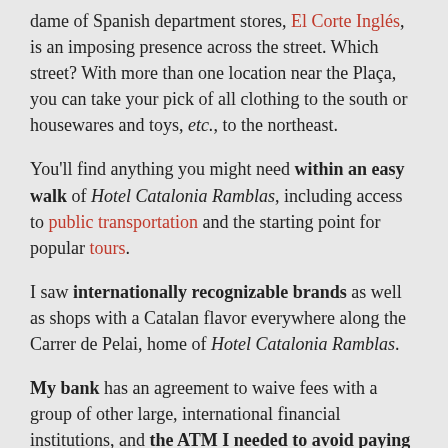dame of Spanish department stores, El Corte Inglés, is an imposing presence across the street. Which street? With more than one location near the Plaça, you can take your pick of all clothing to the south or housewares and toys, etc., to the northeast.
You'll find anything you might need within an easy walk of Hotel Catalonia Ramblas, including access to public transportation and the starting point for popular tours.
I saw internationally recognizable brands as well as shops with a Catalan flavor everywhere along the Carrer de Pelai, home of Hotel Catalonia Ramblas.
My bank has an agreement to waive fees with a group of other large, international financial institutions, and the ATM I needed to avoid paying fees was mere blocks away.